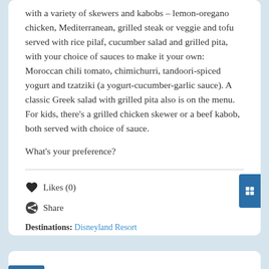with a variety of skewers and kabobs – lemon-oregano chicken, Mediterranean, grilled steak or veggie and tofu served with rice pilaf, cucumber salad and grilled pita, with your choice of sauces to make it your own: Moroccan chili tomato, chimichurri, tandoori-spiced yogurt and tzatziki (a yogurt-cucumber-garlic sauce). A classic Greek salad with grilled pita also is on the menu. For kids, there's a grilled chicken skewer or a beef kabob, both served with choice of sauce.
What's your preference?
Likes (0)
Share
Destinations: Disneyland Resort
Topics: Disney Dining